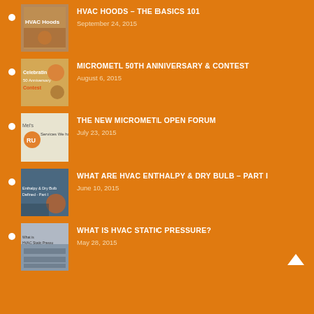HVAC HOODS – THE BASICS 101
September 24, 2015
MICROMETL 50TH ANNIVERSARY & CONTEST
August 6, 2015
THE NEW MICROMETL OPEN FORUM
July 23, 2015
WHAT ARE HVAC ENTHALPY & DRY BULB – PART I
June 10, 2015
WHAT IS HVAC STATIC PRESSURE?
May 28, 2015